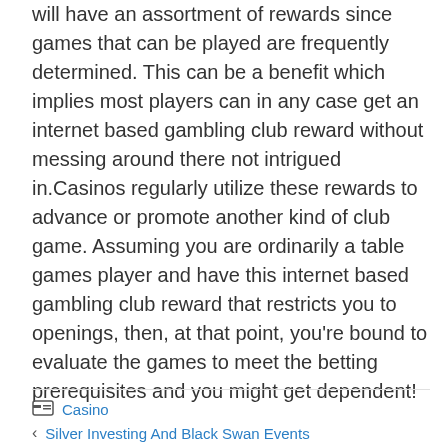will have an assortment of rewards since games that can be played are frequently determined. This can be a benefit which implies most players can in any case get an internet based gambling club reward without messing around there not intrigued in.Casinos regularly utilize these rewards to advance or promote another kind of club game. Assuming you are ordinarily a table games player and have this internet based gambling club reward that restricts you to openings, then, at that point, you're bound to evaluate the games to meet the betting prerequisites and you might get dependent!
Casino | Silver Investing And Black Swan Events